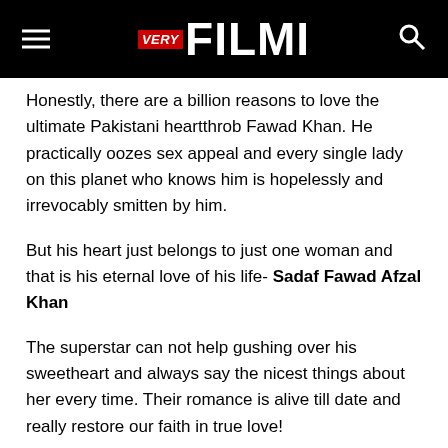VERY FILMI
Honestly, there are a billion reasons to love the ultimate Pakistani heartthrob Fawad Khan. He practically oozes sex appeal and every single lady on this planet who knows him is hopelessly and irrevocably smitten by him.
But his heart just belongs to just one woman and that is his eternal love of his life- Sadaf Fawad Afzal Khan
The superstar can not help gushing over his sweetheart and always say the nicest things about her every time. Their romance is alive till date and really restore our faith in true love!
The celebrity couple has completed their ten amazing years of love marriage and is still mad about each other. Who would not want their partner to be so awesome and attractive